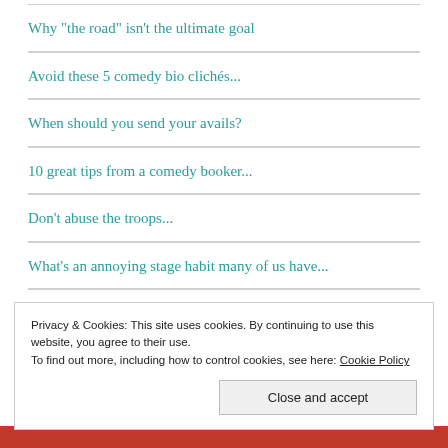Why "the road" isn't the ultimate goal
Avoid these 5 comedy bio clichés...
When should you send your avails?
10 great tips from a comedy booker...
Don't abuse the troops...
What's an annoying stage habit many of us have...
Is a setlist on stage acceptable?
Privacy & Cookies: This site uses cookies. By continuing to use this website, you agree to their use. To find out more, including how to control cookies, see here: Cookie Policy
Close and accept